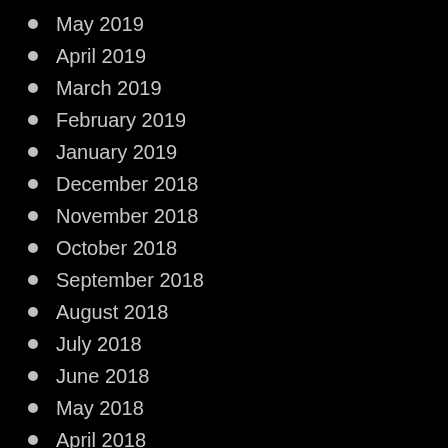May 2019
April 2019
March 2019
February 2019
January 2019
December 2018
November 2018
October 2018
September 2018
August 2018
July 2018
June 2018
May 2018
April 2018
March 2018
February 2018
January 2018
December 2017
November 2017
October 2017